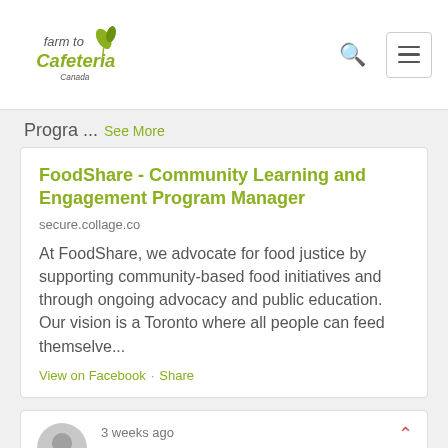Farm to Cafeteria Canada - navigation bar with logo, search, and menu
Progra ... See More
FoodShare - Community Learning and Engagement Program Manager
secure.collage.co
At FoodShare, we advocate for food justice by supporting community-based food initiatives and through ongoing advocacy and public education. Our vision is a Toronto where all people can feed themselve...
View on Facebook · Share
3 weeks ago